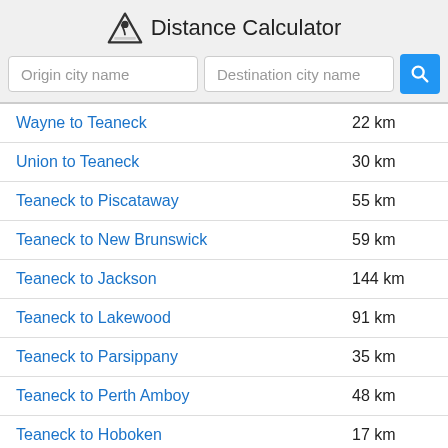Distance Calculator
| Route | Distance |
| --- | --- |
| Wayne to Teaneck | 22 km |
| Union to Teaneck | 30 km |
| Teaneck to Piscataway | 55 km |
| Teaneck to New Brunswick | 59 km |
| Teaneck to Jackson | 144 km |
| Teaneck to Lakewood | 91 km |
| Teaneck to Parsippany | 35 km |
| Teaneck to Perth Amboy | 48 km |
| Teaneck to Hoboken | 17 km |
| Teaneck to Plainfield | 44 km |